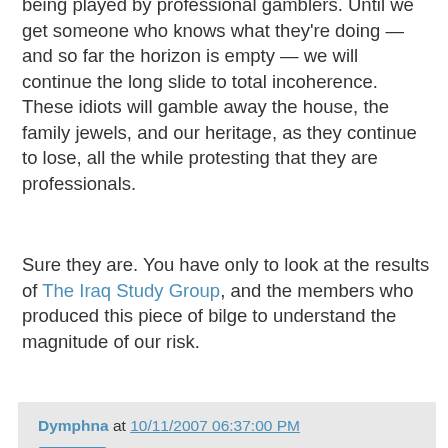American foreign policy consists of a group of rank amateurs being played by professional gamblers. Until we get someone who knows what they're doing — and so far the horizon is empty — we will continue the long slide to total incoherence. These idiots will gamble away the house, the family jewels, and our heritage, as they continue to lose, all the while protesting that they are professionals.
Sure they are. You have only to look at the results of The Iraq Study Group, and the members who produced this piece of bilge to understand the magnitude of our risk.
Dymphna at 10/11/2007 06:37:00 PM
Share
3 comments:
livfreerdie said...
It does seem that we are drowning ourselves because of our wealth, success and selfishness. Not really sure where or when this quick-fix, we want it now and if it